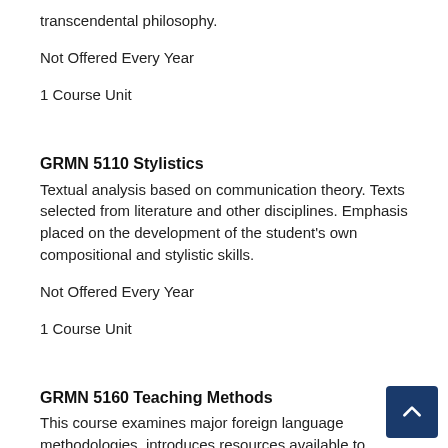transcendental philosophy.
Not Offered Every Year
1 Course Unit
GRMN 5110 Stylistics
Textual analysis based on communication theory. Texts selected from literature and other disciplines. Emphasis placed on the development of the student's own compositional and stylistic skills.
Not Offered Every Year
1 Course Unit
GRMN 5160 Teaching Methods
This course examines major foreign language methodologies, introduces resources available to foreign language teachers, and addresses current issues and concerns of foreign language teaching and learning, as second language acquisition theory and application of